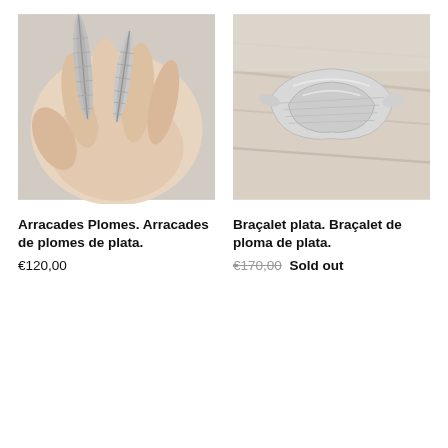[Figure (photo): A hand holding two silver feather-shaped earrings against a light background.]
[Figure (photo): A silver feather-shaped bracelet resting on a wooden surface.]
Arracades Plomes. Arracades de plomes de plata.
€120,00
Braçalet plata. Braçalet de ploma de plata.
€170,00 Sold out